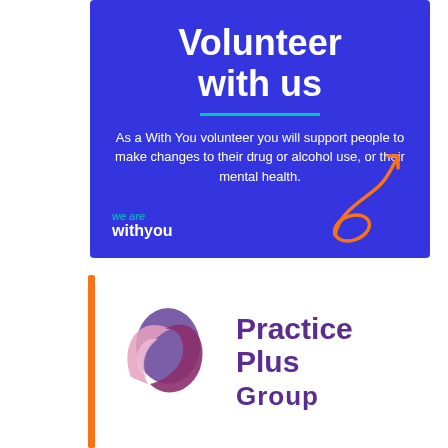[Figure (infographic): Blue banner with text 'Volunteer with us', a teal underline, body text about With You volunteering, the 'we are withyou' logo in white and teal, and an orange decorative arrow graphic.]
[Figure (logo): Practice Plus Group logo: a stylized abstract flower/swirl shape in purple, mauve and pink tones, beside the text 'Practice Plus Group' in bold purple, with an orange vertical bar on the left.]